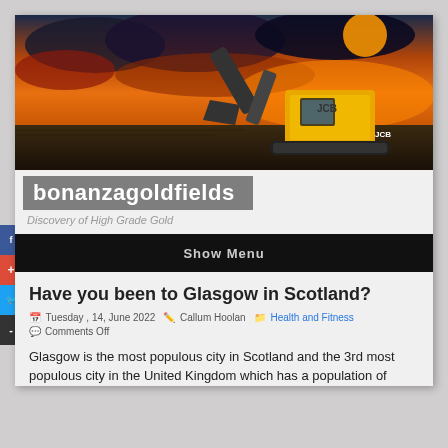[Figure (photo): Hero banner image showing a JCB yellow excavator against a dramatic orange and red sunset sky with dark earth/ground in the foreground.]
bonanzagoldfields
Discovery of High Grade Gold
Show Menu
Have you been to Glasgow in Scotland?
Tuesday , 14, June 2022   Callum Hoolan   Health and Fitness
Comments Off
Glasgow is the most populous city in Scotland and the 3rd most populous city in the United Kingdom which has a population of